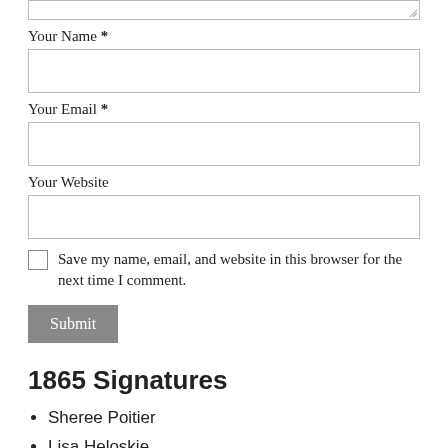[textarea top stub]
Your Name *
[name input field]
Your Email *
[email input field]
Your Website
[website input field]
Save my name, email, and website in this browser for the next time I comment.
Submit
1865 Signatures
Sheree Poitier
Lisa Heloskie
Vonnie Jams